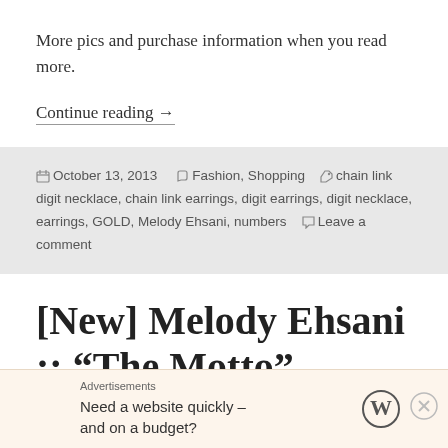More pics and purchase information when you read more.
Continue reading →
October 13, 2013   Fashion, Shopping   chain link digit necklace, chain link earrings, digit earrings, digit necklace, earrings, GOLD, Melody Ehsani, numbers   Leave a comment
[New] Melody Ehsani :: “The Motto” Bangle Set
Advertisements
Need a website quickly – and on a budget?